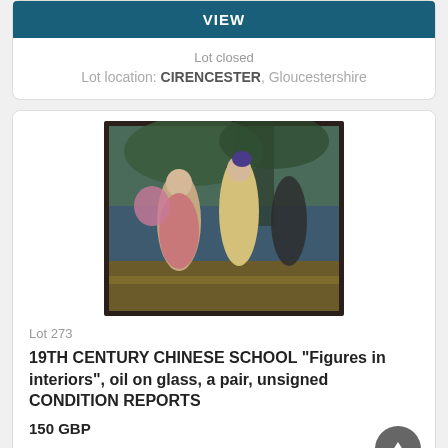VIEW
Lot closed
Lot location: CIRENCESTER, Gloucestershire
[Figure (photo): A framed 19th century Chinese painting on glass showing two female figures in traditional dress in an interior/garden setting with willow trees]
Lot 273
19TH CENTURY CHINESE SCHOOL "Figures in interiors", oil on glass, a pair, unsigned CONDITION REPORTS
150 GBP
Closing bid